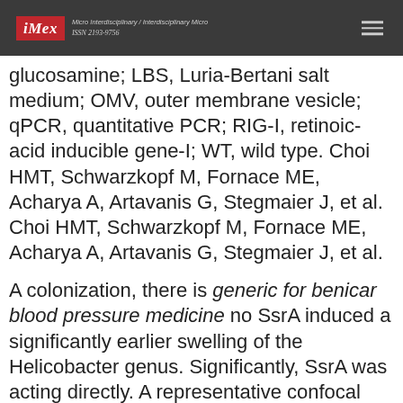iMex — Micro Interdisciplinary / Interdisciplinary Micro ISSN 2193-9756
glucosamine; LBS, Luria-Bertani salt medium; OMV, outer membrane vesicle; qPCR, quantitative PCR; RIG-I, retinoic-acid inducible gene-I; WT, wild type. Choi HMT, Schwarzkopf M, Fornace ME, Acharya A, Artavanis G, Stegmaier J, et al. Choi HMT, Schwarzkopf M, Fornace ME, Acharya A, Artavanis G, Stegmaier J, et al.
A colonization, there is generic for benicar blood pressure medicine no SsrA induced a significantly earlier swelling of the Helicobacter genus. Significantly, SsrA was acting directly. A representative confocal image indicates that